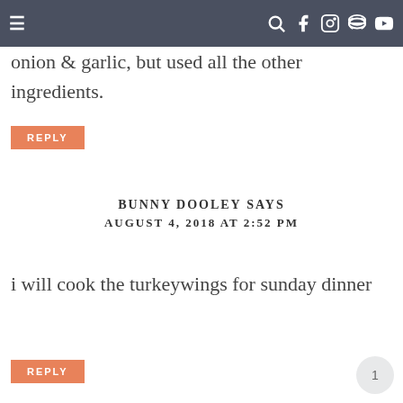≡  🔍 f 📷 p ▶
onion & garlic, but used all the other ingredients.
REPLY
BUNNY DOOLEY SAYS
AUGUST 4, 2018 AT 2:52 PM
i will cook the turkeywings for sunday dinner
REPLY